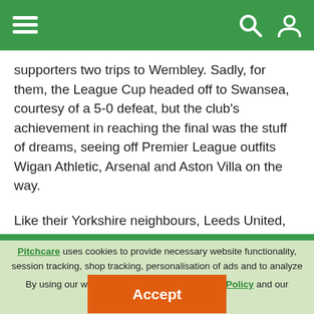Navigation bar with menu icon, search icon, user icon
supporters two trips to Wembley. Sadly, for them, the League Cup headed off to Swansea, courtesy of a 5-0 defeat, but the club's achievement in reaching the final was the stuff of dreams, seeing off Premier League outfits Wigan Athletic, Arsenal and Aston Villa on the way.
Like their Yorkshire neighbours, Leeds United, Sheffield Wednesday and Sheffield United, they have experienced life in the Premiership, but have not be able to...
Pitchcare uses cookies to provide necessary website functionality, session tracking, shop tracking, personalisation of ads and to analyze our traffic - Learn more. By using our website, you agree to our Privacy Policy and our cookies usage.
Accept